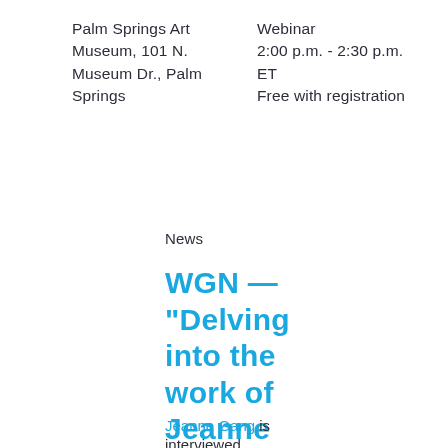Palm Springs Art Museum, 101 N. Museum Dr., Palm Springs
Webinar
2:00 p.m. - 2:30 p.m. ET
Free with registration
News
WGN — "Delving into the work of Jeanne Gang"
Jeanne Gang is interviewed…